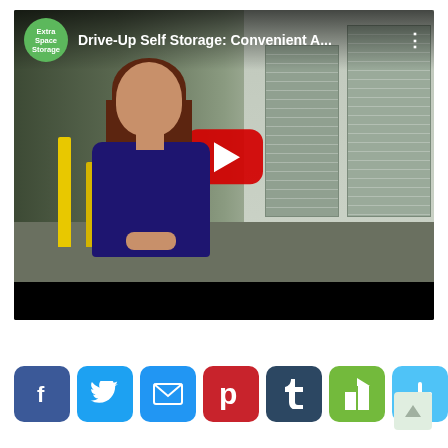[Figure (screenshot): YouTube video thumbnail showing a woman in a navy blue top standing in front of self-storage units with roll-up doors. The video title reads 'Drive-Up Self Storage: Convenient A...' with the Extra Space Storage logo (green circle) in the top left. A red YouTube play button is overlaid in the center.]
[Figure (infographic): Row of social media share buttons: Facebook (blue f), Twitter (blue bird), Email (blue envelope), Pinterest (red P), Tumblr (dark blue t), Houzz (green h), and More (light blue +).]